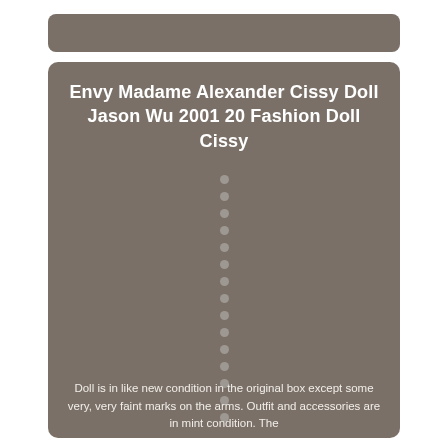Envy Madame Alexander Cissy Doll Jason Wu 2001 20 Fashion Doll Cissy
Doll is in like new condition in the original box except some very, very faint marks on the arms. Outfit and accessories are in mint condition. The